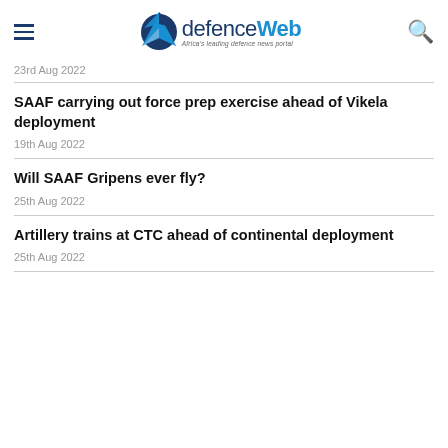defenceWeb – Africa's leading defence news portal
23rd Aug 2022
SAAF carrying out force prep exercise ahead of Vikela deployment
19th Aug 2022
Will SAAF Gripens ever fly?
25th Aug 2022
Artillery trains at CTC ahead of continental deployment
25th Aug 2022